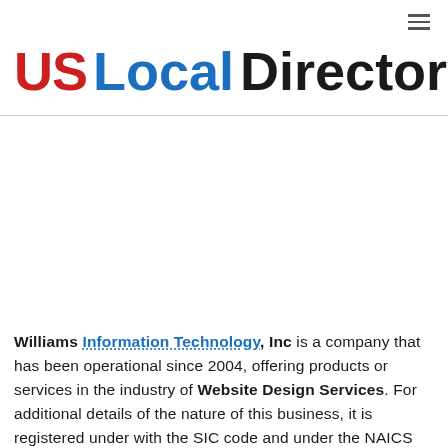≡ (hamburger menu icon)
US Local Directory
Williams Information Technology, Inc is a company that has been operational since 2004, offering products or services in the industry of Website Design Services. For additional details of the nature of this business, it is registered under with the SIC code and under the NAICS